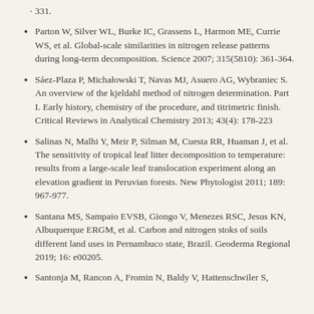331.
Parton W, Silver WL, Burke IC, Grassens L, Harmon ME, Currie WS, et al. Global-scale similarities in nitrogen release patterns during long-term decomposition. Science 2007; 315(5810): 361-364.
Sáez-Plaza P, Michałowski T, Navas MJ, Asuero AG, Wybraniec S. An overview of the kjeldahl method of nitrogen determination. Part I. Early history, chemistry of the procedure, and titrimetric finish. Critical Reviews in Analytical Chemistry 2013; 43(4): 178-223
Salinas N, Malhi Y, Meir P, Silman M, Cuesta RR, Huaman J, et al. The sensitivity of tropical leaf litter decomposition to temperature: results from a large-scale leaf translocation experiment along an elevation gradient in Peruvian forests. New Phytologist 2011; 189: 967-977.
Santana MS, Sampaio EVSB, Giongo V, Menezes RSC, Jesus KN, Albuquerque ERGM, et al. Carbon and nitrogen stoks of soils different land uses in Pernambuco state, Brazil. Geoderma Regional 2019; 16: e00205.
Santonja M, Rancon A, Fromin N, Baldy V, Hattenschwiler S,